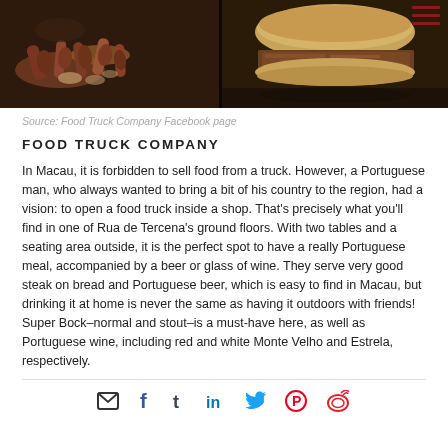[Figure (photo): Two food photos side by side: left shows assorted Portuguese charcuterie/finger foods on a dark surface, right shows a steak sandwich on bread]
Source: Food Truck Company Facebook page
FOOD TRUCK COMPANY
In Macau, it is forbidden to sell food from a truck. However, a Portuguese man, who always wanted to bring a bit of his country to the region, had a vision: to open a food truck inside a shop. That's precisely what you'll find in one of Rua de Tercena's ground floors. With two tables and a seating area outside, it is the perfect spot to have a really Portuguese meal, accompanied by a beer or glass of wine. They serve very good steak on bread and Portuguese beer, which is easy to find in Macau, but drinking it at home is never the same as having it outdoors with friends! Super Bock–normal and stout–is a must-have here, as well as Portuguese wine, including red and white Monte Velho and Estrela, respectively.
[Figure (infographic): Social sharing icons: email, Facebook, Tumblr, LinkedIn, Twitter, Pinterest, Weibo]